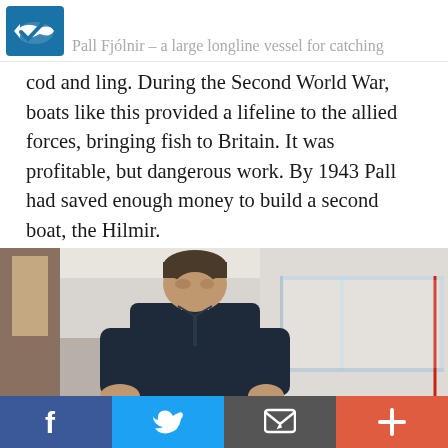Pall Fjólnir – a large longline vessel for catching
cod and ling. During the Second World War, boats like this provided a lifeline to the allied forces, bringing fish to Britain. It was profitable, but dangerous work. By 1943 Pall had saved enough money to build a second boat, the Hilmir.
[Figure (photo): A man standing and looking down at a transparent/glass rectangular display case or aquarium structure, indoors.]
Social sharing bar: Facebook, Twitter, Email, More